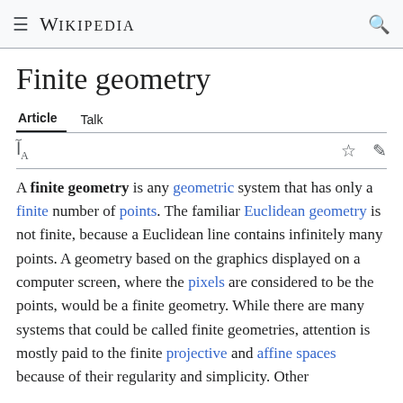≡ WIKIPEDIA 🔍
Finite geometry
Article  Talk
A finite geometry is any geometric system that has only a finite number of points. The familiar Euclidean geometry is not finite, because a Euclidean line contains infinitely many points. A geometry based on the graphics displayed on a computer screen, where the pixels are considered to be the points, would be a finite geometry. While there are many systems that could be called finite geometries, attention is mostly paid to the finite projective and affine spaces because of their regularity and simplicity. Other